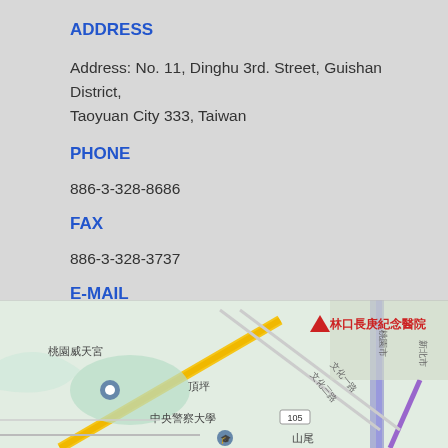ADDRESS
Address: No. 11, Dinghu 3rd. Street, Guishan District, Taoyuan City 333, Taiwan
PHONE
886-3-328-8686
FAX
886-3-328-3737
E-MAIL
cymw@cymw.com.tw
[Figure (map): Google Maps showing location near 林口長庚紀念醫院 (Linkou Chang Gung Memorial Hospital), with landmarks 桃園威天宮, 頂坪, 中央警察大學, 山尾, and roads 文化三路, 文化一路, route 105.]